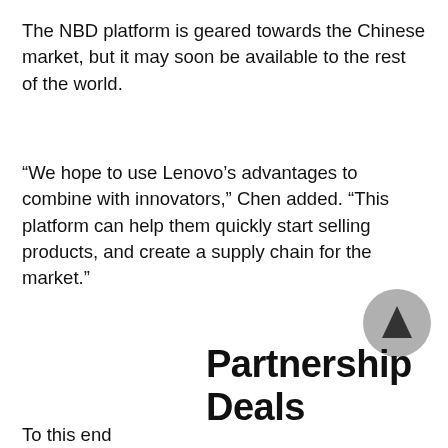The NBD platform is geared towards the Chinese market, but it may soon be available to the rest of the world.
“We hope to use Lenovo’s advantages to combine with innovators,” Chen added. “This platform can help them quickly start selling products, and create a supply chain for the market.”
Partnership Deals
To this end